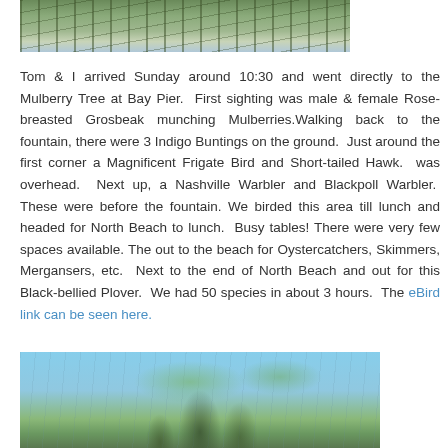[Figure (photo): Photo of foliage and branches with blurred background, partial view at top of page]
Tom & I arrived Sunday around 10:30 and went directly to the Mulberry Tree at Bay Pier.  First sighting was male & female Rose-breasted Grosbeak munching Mulberries.Walking back to the fountain, there were 3 Indigo Buntings on the ground.  Just around the first corner a Magnificent Frigate Bird and Short-tailed Hawk.  was overhead.  Next up, a Nashville Warbler and Blackpoll Warbler.  These were before the fountain. We birded this area till lunch and headed for North Beach to lunch.  Busy tables! There were very few spaces available. The out to the beach for Oystercatchers, Skimmers, Mergansers, etc.  Next to the end of North Beach and out for this Black-bellied Plover.  We had 50 species in about 3 hours.  The eBird link can be seen here.
[Figure (photo): Photo of a bird perched on a tree branch with leaves and berries against a blue sky background]